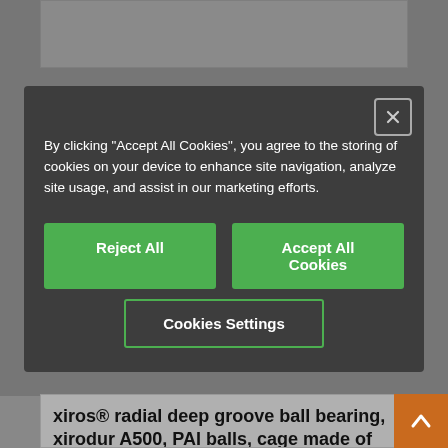[Figure (screenshot): Cookie consent modal overlay on a product page. Dark gray modal with text, two green buttons (Reject All, Accept All Cookies), and an outlined green Cookies Settings button. Close button top-right. Below the modal, partial view of a product card with title 'xiros® radial deep groove ball bearing, xirodur A500, PAI balls, cage made of PEEK, mm']
By clicking "Accept All Cookies", you agree to the storing of cookies on your device to enhance site navigation, analyze site usage, and assist in our marketing efforts.
Reject All
Accept All Cookies
Cookies Settings
xiros® radial deep groove ball bearing, xirodur A500, PAI balls, cage made of PEEK, mm